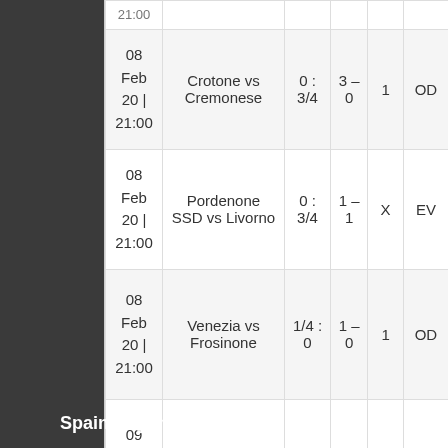| Date | Match | Tip Odds | Score | Result | Type |
| --- | --- | --- | --- | --- | --- |
| 21:00 |  |  |  |  |  |
| 08 Feb 20 | 21:00 | Crotone vs Cremonese | 0:3/4 | 3 – 0 | 1 | OD |
| 08 Feb 20 | 21:00 | Pordenone SSD vs Livorno | 0:3/4 | 1 – 1 | X | EV |
| 08 Feb 20 | 21:00 | Venezia vs Frosinone | 1/4:0 | 1 – 0 | 1 | OD |
| 09 Feb 20 | 00:00 | Perugia vs Spezia | 0:1/4 | 0 – 2 | 2 | EV |
Spain Segunda Liga